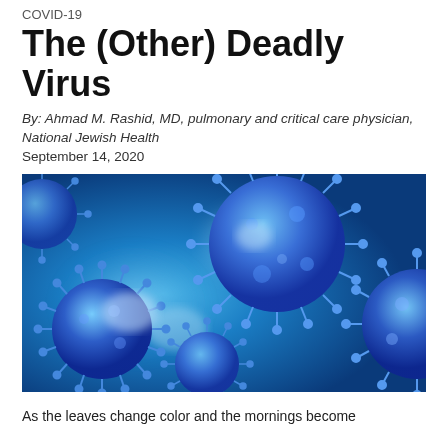COVID-19
The (Other) Deadly Virus
By: Ahmad M. Rashid, MD, pulmonary and critical care physician, National Jewish Health
September 14, 2020
[Figure (photo): Close-up illustration of multiple blue coronavirus particles with spike proteins, on a light blue background.]
As the leaves change color and the mornings become